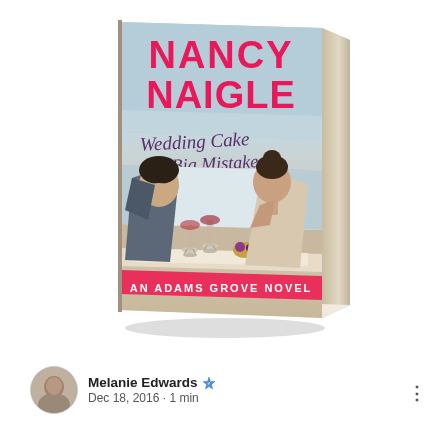[Figure (illustration): 3D rendered book cover of 'Wedding Cake and Big Mistakes' by Nancy Naigle. The book is shown at an angle with a light blue/beige spine visible. The cover features large hot-pink text 'NANCY NAIGLE' at top, italic purple/dark text 'Wedding Cake and Big Mistakes' in the middle, a romantic photo of a couple gazing at each other across a table with wine glasses, and a pink banner at the bottom reading 'AN ADAMS GROVE NOVEL'.]
Melanie Edwards ✪
Dec 18, 2016 · 1 min